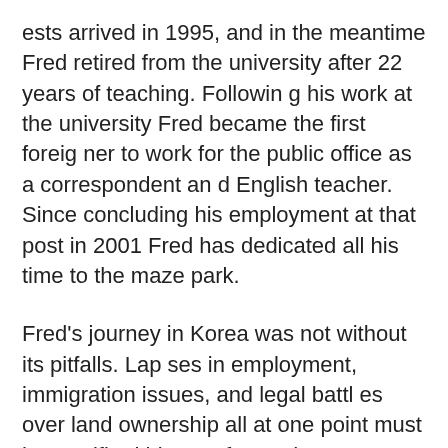ests arrived in 1995, and in the meantime Fred retired from the university after 22 years of teaching. Following his work at the university Fred became the first foreigner to work for the public office as a correspondent and English teacher. Since concluding his employment at that post in 2001 Fred has dedicated all his time to the maze park.
Fred's journey in Korea was not without its pitfalls. Lapses in employment, immigration issues, and legal battles over land ownership all at one point must have stifled his way forward. However, listening to his story and looking back into his past I got the feeling that this is a guy who has found his path. Furthermore, his and Kim's work are helping thousands of people find their own.